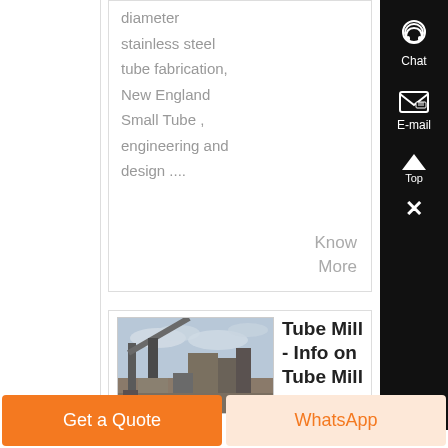diameter stainless steel tube fabrication, New England Small Tube , engineering and design ....
Know More
[Figure (photo): Industrial facility or mining/construction site with large machinery and equipment under a cloudy sky]
Tube Mill - Info on Tube Mill
Get a Quote
WhatsApp